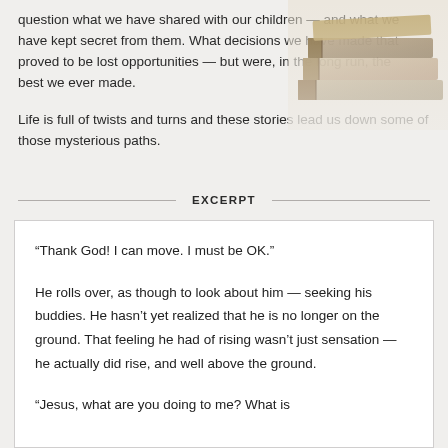question what we have shared with our children — and what we have kept secret from them. What decisions we have made that proved to be lost opportunities — but were, in the long run, the best we ever made.
[Figure (photo): Stack of old books, partially visible in upper right corner of the page]
Life is full of twists and turns and these stories lead us down some of those mysterious paths.
EXCERPT
“Thank God! I can move. I must be OK.”
He rolls over, as though to look about him — seeking his buddies. He hasn’t yet realized that he is no longer on the ground. That feeling he had of rising wasn’t just sensation — he actually did rise, and well above the ground.
“Jesus, what are you doing to me? What is